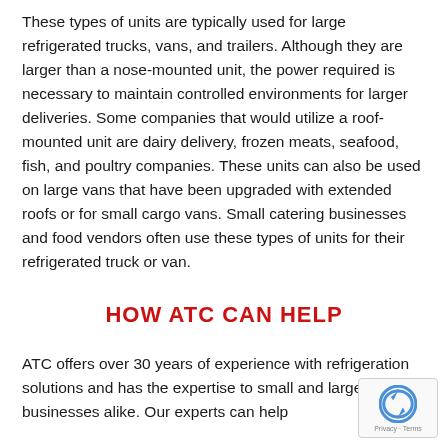These types of units are typically used for large refrigerated trucks, vans, and trailers. Although they are larger than a nose-mounted unit, the power required is necessary to maintain controlled environments for larger deliveries. Some companies that would utilize a roof-mounted unit are dairy delivery, frozen meats, seafood, fish, and poultry companies. These units can also be used on large vans that have been upgraded with extended roofs or for small cargo vans. Small catering businesses and food vendors often use these types of units for their refrigerated truck or van.
HOW ATC CAN HELP
ATC offers over 30 years of experience with refrigeration solutions and has the expertise to small and large businesses alike. Our experts can help
[Figure (other): reCAPTCHA badge with Privacy and Terms links]